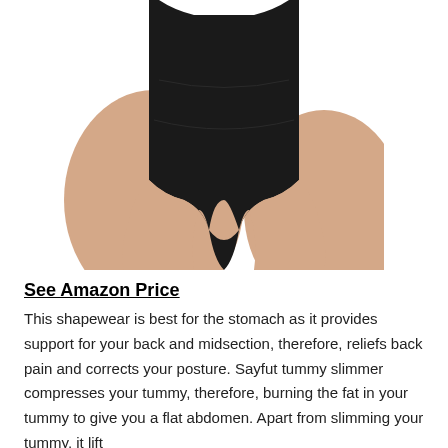[Figure (photo): A woman's torso wearing a black thong bodysuit shapewear, showing midsection and hips against a white background.]
See Amazon Price
This shapewear is best for the stomach as it provides support for your back and midsection, therefore, reliefs back pain and corrects your posture. Sayfut tummy slimmer compresses your tummy, therefore, burning the fat in your tummy to give you a flat abdomen. Apart from slimming your tummy, it lift